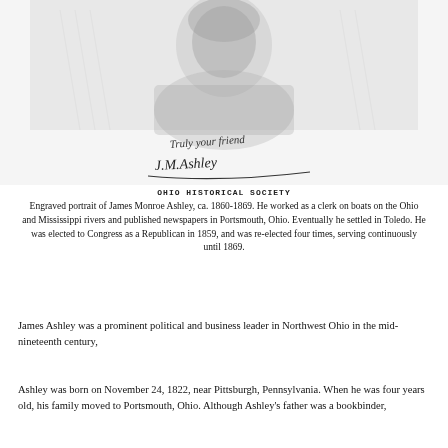[Figure (photo): Engraved portrait photograph of James Monroe Ashley (upper portion visible), with cursive handwritten signature reading 'Truly your friend, J.M. Ashley' below the portrait image. Black and white engraving.]
OHIO HISTORICAL SOCIETY
Engraved portrait of James Monroe Ashley, ca. 1860-1869. He worked as a clerk on boats on the Ohio and Mississippi rivers and published newspapers in Portsmouth, Ohio. Eventually he settled in Toledo. He was elected to Congress as a Republican in 1859, and was re-elected four times, serving continuously until 1869.
James Ashley was a prominent political and business leader in Northwest Ohio in the mid-nineteenth century,
Ashley was born on November 24, 1822, near Pittsburgh, Pennsylvania. When he was four years old, his family moved to Portsmouth, Ohio. Although Ashley's father was a bookbinder,